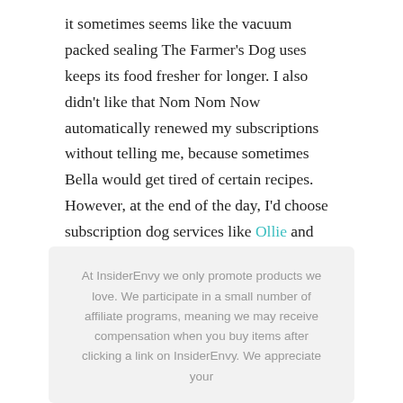it sometimes seems like the vacuum packed sealing The Farmer's Dog uses keeps its food fresher for longer. I also didn't like that Nom Nom Now automatically renewed my subscriptions without telling me, because sometimes Bella would get tired of certain recipes. However, at the end of the day, I'd choose subscription dog services like Ollie and others over any commercial dog food.
At InsiderEnvy we only promote products we love. We participate in a small number of affiliate programs, meaning we may receive compensation when you buy items after clicking a link on InsiderEnvy. We appreciate your